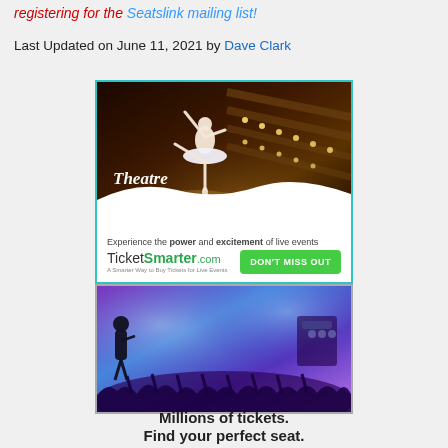registering for the Seatslink mailing list!
Last Updated on June 11, 2021 by Dave Clark
[Figure (photo): TicketSmarter advertisement featuring a ballerina on stage in a theatre with text 'Theatre', tagline 'Experience the power and excitement of live events', TicketSmarter.com logo, and a green 'DON'T MISS OUT' button]
[Figure (photo): Concert advertisement showing a performer on stage with crowd and purple/blue lights background]
Millions of tickets. Find your perfect seat.